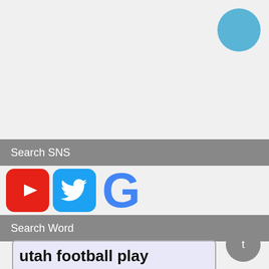[Figure (screenshot): Light blue circle in upper right corner]
Search SNS
[Figure (logo): YouTube icon (red rounded square with white play triangle), Twitter icon (blue rounded square with white bird), Google G letter in blue]
Search Word
utah football play
[Figure (other): Gray circle with letter t in lower right corner]